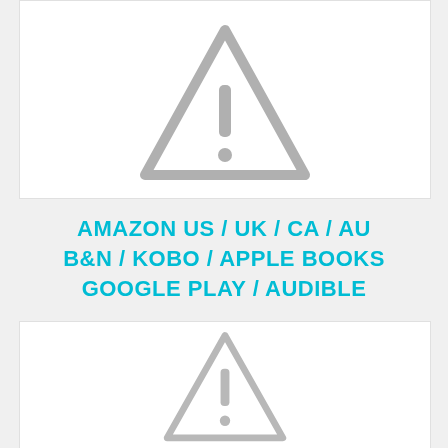[Figure (illustration): Warning triangle icon (gray) centered in a white rectangle box]
AMAZON US / UK / CA / AU B&N / KOBO / APPLE BOOKS GOOGLE PLAY / AUDIBLE
[Figure (illustration): Warning triangle icon (gray, smaller) centered in a white rectangle box]